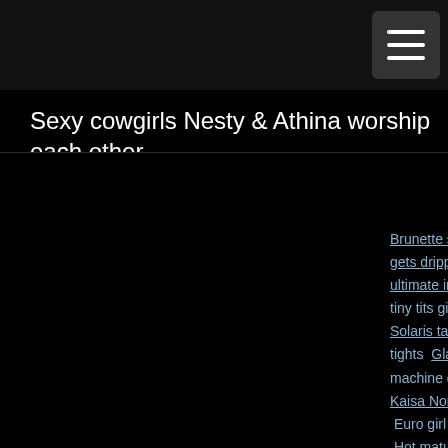☰ (menu button)
Sexy cowgirls Nesty & Athina worship each other
Brunette solo girl sticks a bu... gets dripping creampie  Dark... ultimate in erotic massages ...tiny tits gives a blowjob follo... Solaris takes off glasses be... tights  Glamorous Europea... machine on her tattooed pus... Kaisa Nord getting her assho... Euro girl Samantha Bentley n... Hot mature in satin lingerie p... a mechanic  Charming Steph... Vanessa puts out a cigarette... fucked by her...